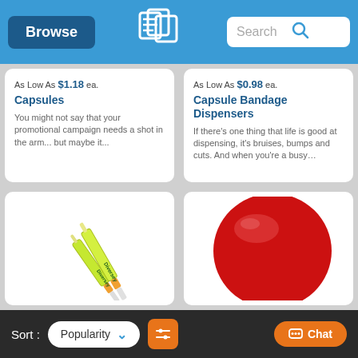Browse | Search
As Low As $1.18 ea.
Capsules
You might not say that your promotional campaign needs a shot in the arm... but maybe it...
As Low As $0.98 ea.
Capsule Bandage Dispensers
If there's one thing that life is good at dispensing, it's bruises, bumps and cuts. And when you're a busy...
[Figure (photo): Yellow/green Diversey branded syringes/capsules product photo]
[Figure (photo): Red circular capsule bandage dispenser product photo]
Sort: Popularity | Filter | Chat